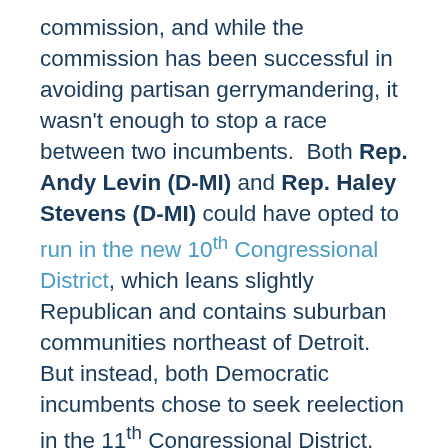commission, and while the commission has been successful in avoiding partisan gerrymandering, it wasn't enough to stop a race between two incumbents.  Both Rep. Andy Levin (D-MI) and Rep. Haley Stevens (D-MI) could have opted to run in the new 10th Congressional District, which leans slightly Republican and contains suburban communities northeast of Detroit.  But instead, both Democratic incumbents chose to seek reelection in the 11th Congressional District, which features a more Democratic-leaning electorate in the suburb's northwest of Detroit.   While Levin resides in the new district, Stevens' current district includes much of the new one she's running in.